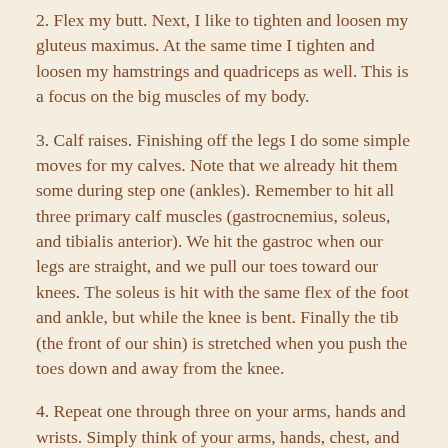2. Flex my butt. Next, I like to tighten and loosen my gluteus maximus. At the same time I tighten and loosen my hamstrings and quadriceps as well. This is a focus on the big muscles of my body.
3. Calf raises. Finishing off the legs I do some simple moves for my calves. Note that we already hit them some during step one (ankles). Remember to hit all three primary calf muscles (gastrocnemius, soleus, and tibialis anterior). We hit the gastroc when our legs are straight, and we pull our toes toward our knees. The soleus is hit with the same flex of the foot and ankle, but while the knee is bent. Finally the tib (the front of our shin) is stretched when you push the toes down and away from the knee.
4. Repeat one through three on your arms, hands and wrists. Simply think of your arms, hands, chest, and...